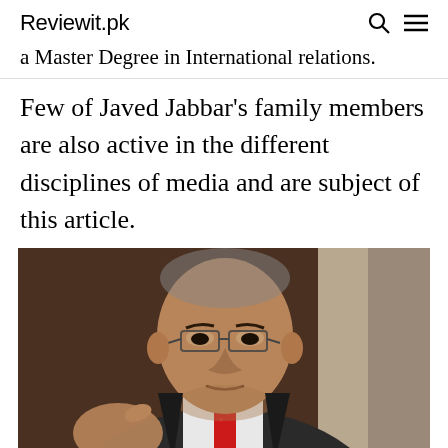Reviewit.pk
a Master Degree in International relations.
Few of Javed Jabbar's family members are also active in the different disciplines of media and are subject of this article.
[Figure (photo): A middle-aged South Asian man wearing glasses and a dark suit with a red tie, gesturing with his hand, photographed in front of a dark wooden background.]